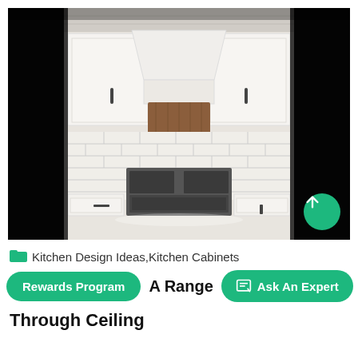[Figure (photo): Kitchen interior with white cabinets, a large range hood with wood accent at the bottom, white subway tile backsplash, stainless steel stove/range below, white countertops, and dark blurred side panels giving a vignette effect.]
Kitchen Design Ideas,Kitchen Cabinets
Rewards Program
A Range Through Ceiling
Ask An Expert